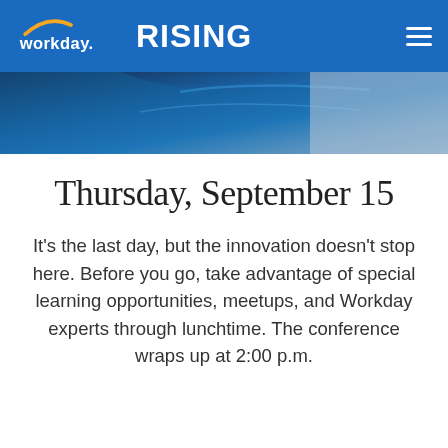workday. RISING
[Figure (photo): Partial photo of a dark blue surface, likely a vehicle or boat, with grey/white background at edges. Only the top portion of the image is visible.]
Thursday, September 15
It’s the last day, but the innovation doesn’t stop here. Before you go, take advantage of special learning opportunities, meetups, and Workday experts through lunchtime. The conference wraps up at 2:00 p.m.